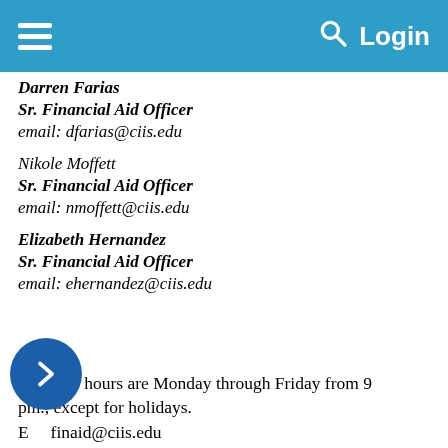≡  🔍 Login
Darren Farias
Sr. Financial Aid Officer
email: dfarias@ciis.edu
Nikole Moffett
Sr. Financial Aid Officer
email: nmoffett@ciis.edu
Elizabeth Hernandez
Sr. Financial Aid Officer
email: ehernandez@ciis.edu
Office hours are Monday through Friday from 9 pm., except for holidays.
Email: finaid@ciis.edu